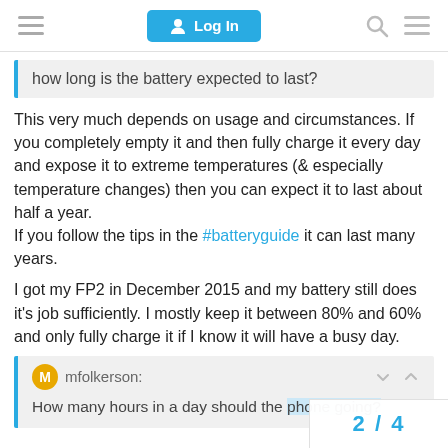Log In
how long is the battery expected to last?
This very much depends on usage and circumstances. If you completely empty it and then fully charge it every day and expose it to extreme temperatures (& especially temperature changes) then you can expect it to last about half a year.
If you follow the tips in the #batteryguide it can last many years.
I got my FP2 in December 2015 and my battery still does it's job sufficiently. I mostly keep it between 80% and 60% and only fully charge it if I know it will have a busy day.
mfolkerson:
How many hours in a day should the phone going?
2 / 4